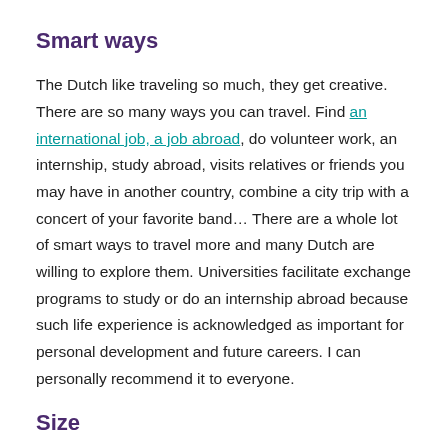Smart ways
The Dutch like traveling so much, they get creative. There are so many ways you can travel. Find an international job, a job abroad, do volunteer work, an internship, study abroad, visits relatives or friends you may have in another country, combine a city trip with a concert of your favorite band... There are a whole lot of smart ways to travel more and many Dutch are willing to explore them. Universities facilitate exchange programs to study or do an internship abroad because such life experience is acknowledged as important for personal development and future careers. I can personally recommend it to everyone.
Size